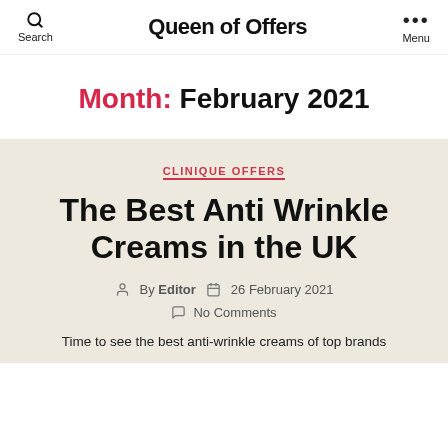Queen of Offers
Month: February 2021
CLINIQUE OFFERS
The Best Anti Wrinkle Creams in the UK
By Editor  26 February 2021  No Comments
Time to see the best anti-wrinkle creams of top brands